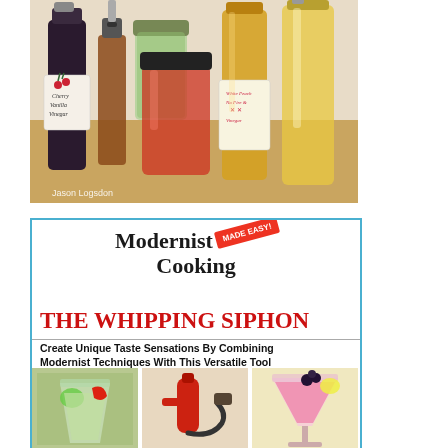[Figure (photo): Photo of various bottles and jars of infused vinegars and liquids including a dark bottle labeled 'Cherry Vanilla Vinegar', a dropper bottle, mason jars, and yellow/amber bottles. Credit: Jason Logsdon]
[Figure (photo): Book cover for 'Modernist Cooking Made Easy: The Whipping Siphon – Create Unique Taste Sensations By Combining Modernist Techniques With This Versatile Tool', with three food/drink photos at bottom showing drinks with siphon equipment]